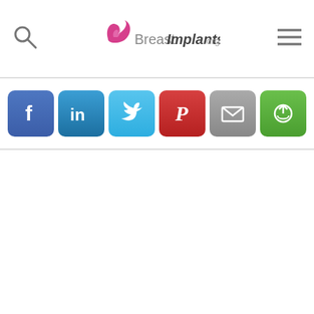[Figure (logo): BreastImplants.org website logo with pink/magenta stylized icon and text]
[Figure (infographic): Row of six social sharing buttons: Facebook (blue), LinkedIn (dark blue), Twitter (light blue), Pinterest (red), Email (gray), ShareThis (green)]